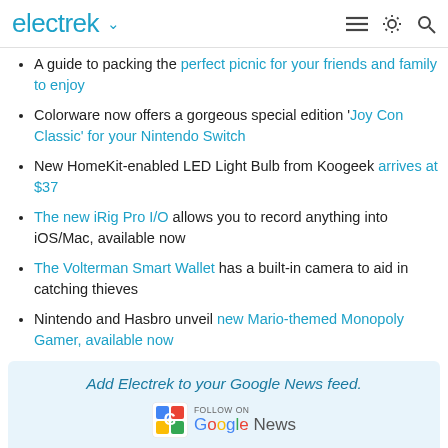electrek
A guide to packing the perfect picnic for your friends and family to enjoy
Colorware now offers a gorgeous special edition 'Joy Con Classic' for your Nintendo Switch
New HomeKit-enabled LED Light Bulb from Koogeek arrives at $37
The new iRig Pro I/O allows you to record anything into iOS/Mac, available now
The Volterman Smart Wallet has a built-in camera to aid in catching thieves
Nintendo and Hasbro unveil new Mario-themed Monopoly Gamer, available now
Add Electrek to your Google News feed.